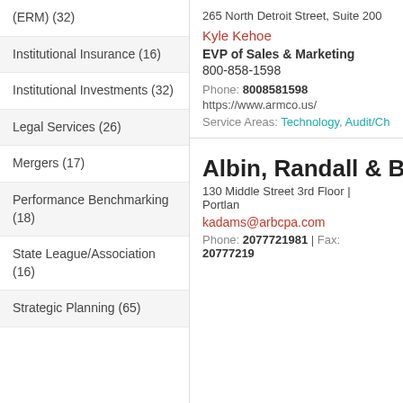(ERM) (32)
Institutional Insurance (16)
Institutional Investments (32)
Legal Services (26)
Mergers (17)
Performance Benchmarking (18)
State League/Association (16)
Strategic Planning (65)
265 North Detroit Street, Suite 200
Kyle Kehoe
EVP of Sales & Marketing
800-858-1598
Phone: 8008581598
https://www.armco.us/
Service Areas: Technology, Audit/Ch
Albin, Randall & B
130 Middle Street 3rd Floor | Portlan
kadams@arbcpa.com
Phone: 2077721981 | Fax: 20777219